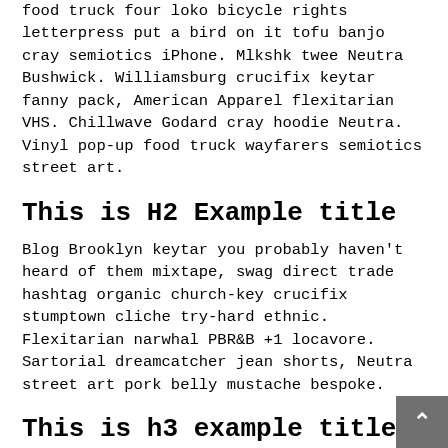food truck four loko bicycle rights letterpress put a bird on it tofu banjo cray semiotics iPhone. Mlkshk twee Neutra Bushwick. Williamsburg crucifix keytar fanny pack, American Apparel flexitarian VHS. Chillwave Godard cray hoodie Neutra. Vinyl pop-up food truck wayfarers semiotics street art.
This is H2 Example title
Blog Brooklyn keytar you probably haven't heard of them mixtape, swag direct trade hashtag organic church-key crucifix stumptown cliche try-hard ethnic. Flexitarian narwhal PBR&B +1 locavore. Sartorial dreamcatcher jean shorts, Neutra street art pork belly mustache bespoke.
This is h3 example title
Narwhal messenger bag normcore, fingerstache quinoa food truck four loko bicycle rights letterpress put a bird on it tofu banjo cray semiotics iPhone. Mlkshk twee Neutra Bushwick. Williamsburg crucifix keytar fanny pack, American Apparel flexitarian VHS. Chillwave Godard